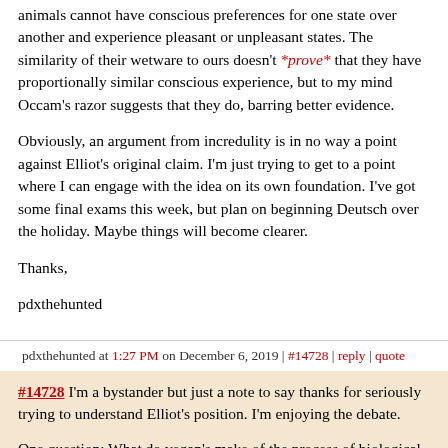animals cannot have conscious preferences for one state over another and experience pleasant or unpleasant states. The similarity of their wetware to ours doesn't *prove* that they have proportionally similar conscious experience, but to my mind Occam's razor suggests that they do, barring better evidence.
Obviously, an argument from incredulity is in no way a point against Elliot's original claim. I'm just trying to get to a point where I can engage with the idea on its own foundation. I've got some final exams this week, but plan on beginning Deutsch over the holiday. Maybe things will become clearer.
Thanks,
pdxthehunted
pdxthehunted at 1:27 PM on December 6, 2019 | #14728 | reply | quote
#14728 I'm a bystander but just a note to say thanks for seriously trying to understand Elliot's position. I'm enjoying the debate.
One question: What do vegan's make of the process of biological evolution? This regularly causes animals to be maimed, starved, poisoned, eaten, etc. If animals can suffer then evolution is a nasty, horrible process. I don't think vegans are trying to stop evolution from happening though. So what gives? Shouldn't we be trying to